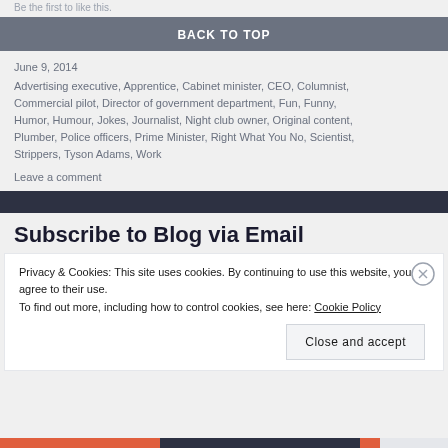Be the first to like this.
BACK TO TOP
June 9, 2014
Advertising executive, Apprentice, Cabinet minister, CEO, Columnist, Commercial pilot, Director of government department, Fun, Funny, Humor, Humour, Jokes, Journalist, Night club owner, Original content, Plumber, Police officers, Prime Minister, Right What You No, Scientist, Strippers, Tyson Adams, Work
Leave a comment
Subscribe to Blog via Email
Privacy & Cookies: This site uses cookies. By continuing to use this website, you agree to their use.
To find out more, including how to control cookies, see here: Cookie Policy
Close and accept